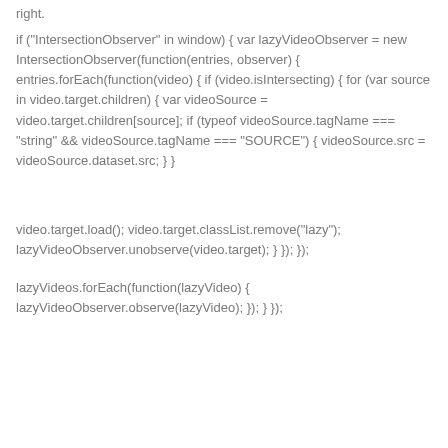right.
if ("IntersectionObserver" in window) { var lazyVideoObserver = new IntersectionObserver(function(entries, observer) { entries.forEach(function(video) { if (video.isIntersecting) { for (var source in video.target.children) { var videoSource = video.target.children[source]; if (typeof videoSource.tagName === "string" && videoSource.tagName === "SOURCE") { videoSource.src = videoSource.dataset.src; } }
video.target.load(); video.target.classList.remove("lazy"); lazyVideoObserver.unobserve(video.target); } }); });
lazyVideos.forEach(function(lazyVideo) { lazyVideoObserver.observe(lazyVideo); }); } });